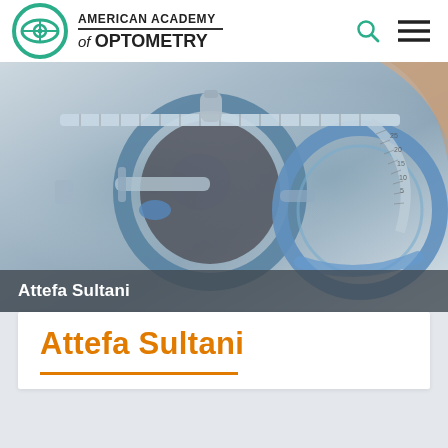[Figure (logo): American Academy of Optometry logo with teal eye/target icon and organization name]
[Figure (photo): Close-up photograph of optometry trial lens frame (phoropter) with blue-rimmed lenses and precision measurement markings, held by hands]
Attefa Sultani
Attefa Sultani